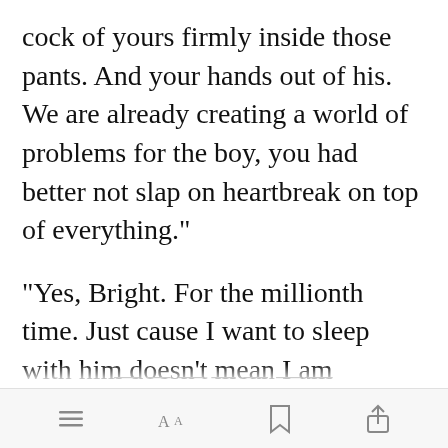cock of yours firmly inside those pants. And your hands out of his. We are already creating a world of problems for the boy, you had better not slap on heartbreak on top of everything."
"Yes, Bright. For the millionth time. Just cause I want to sleep with him doesn't mean I am actually going to."
[Figure (other): Green 'Open in app' button]
toolbar with menu, font, bookmark, and share icons